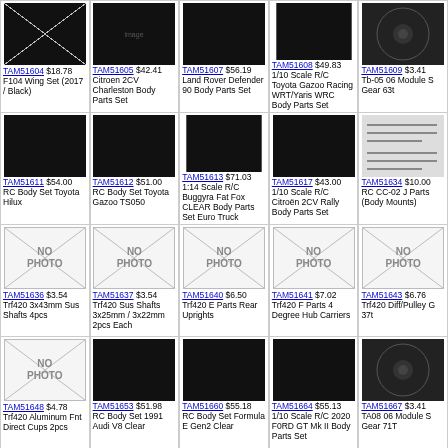| TAM51604 $18.78 F104 Wing Set (2017 / Black) | TAM51605 $42.41 Citroen 2CV Charleston Body Parts Set | TAM51607 $56.19 Land Rover Defender 90 Body Parts Set | TAM51608 $49.83 1/10 Scale R/C Toyota Gazoo Racing WRT/Yaris WRC Body Parts Set | TAM51609 $3.41 Tb-05 06 Module S Gear 63t |
| TAM51611 $54.00 RC Body Set Toyota Hilux | TAM51612 $51.00 RC Body Set Toyota Gazoo TS050 | TAM51613 $71.03 1:14 Scale R/C Buggyra Fat Fox CLEAR Body Parts Set Euro Truck | TAM51617 $43.00 1/10 Scale R/C Citroën 2CV Rally Body Parts Set | TAM51634 $10.00 RC CC-02 J Parts (Body Mounts) |
| TAM51636 $3.54 Trf420 3x43mm Sus Shafts 4pcs | TAM51637 $3.54 Trf420 Sus Shafts 3x25mm / 3x22mm 2pcs Each | TAM51640 $6.50 Trf420 E Parts Rear Uprights | TAM51641 $7.02 Trf420 F Parts 4 Degree Hub Carriers | TAM51643 $6.76 Trf420 Diff/Pulley G 37t |
| TAM51648 $4.78 Trf420 Aluminum Fnt Direct Cups 2pcs | TAM51653 $51.98 RC Body Set 1991 Audi V8 Clear | TAM51660 $55.18 RC Body Set Formula E Gen2 Clear | TAM51664 $55.13 1/10 Scale R/C 2020 F0RD GT Mk II Body Parts Set | TAM51667 $3.41 TA08 06 Module S Gear 71T |